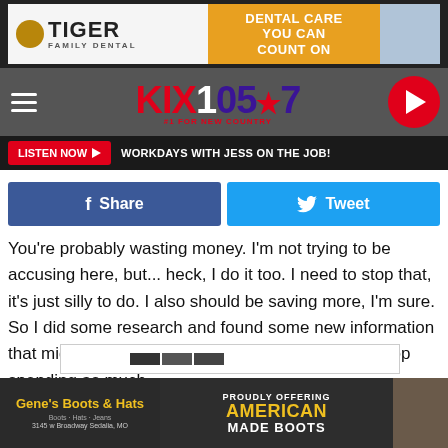[Figure (other): Tiger Family Dental advertisement banner with logo and 'Dental Care You Can Count On' text]
[Figure (logo): KIX 105.7 #1 For New Country radio station logo/header with hamburger menu and play button]
LISTEN NOW ▶   WORKDAYS WITH JESS ON THE JOB!
[Figure (other): Facebook Share and Twitter Tweet social sharing buttons]
You're probably wasting money.  I'm not trying to be accusing here, but... heck, I do it too. I need to stop that, it's just silly to do.  I also should be saving more, I'm sure.  So I did some research and found some new information that might be helpful. Here are five more ways to stop spending as much.
[Figure (other): Gene's Boots & Hats advertisement banner - 'Proudly Offering American Made Boots', 3145 w Broadway Sedalia, MO]